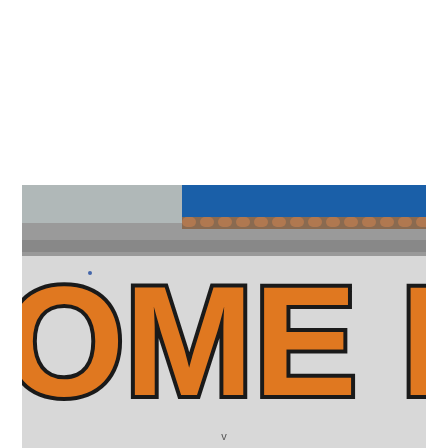[Figure (photo): Close-up photograph of a Home Depot store sign showing large orange block letters 'OME DE' (partial view of 'HOME DEPOT') with dark outlines on a light gray background, with blue sky and building roofline visible at the top.]
v